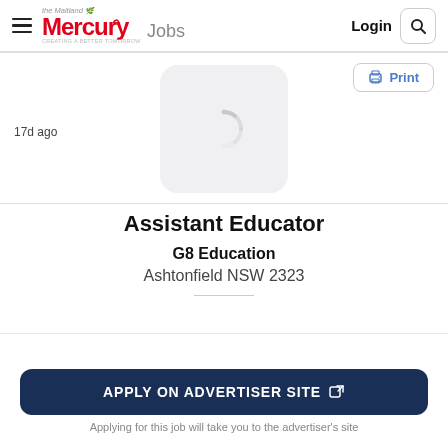the Maitland Mercury Jobs | Login | Search
17d ago
[Figure (illustration): Placeholder image loader icon with a loading spinner in a rounded square]
Assistant Educator
G8 Education
Ashtonfield NSW 2323
APPLY ON ADVERTISER SITE
Applying for this job will take you to the advertiser's site